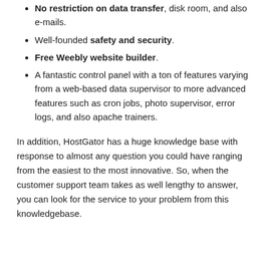No restriction on data transfer, disk room, and also e-mails.
Well-founded safety and security.
Free Weebly website builder.
A fantastic control panel with a ton of features varying from a web-based data supervisor to more advanced features such as cron jobs, photo supervisor, error logs, and also apache trainers.
In addition, HostGator has a huge knowledge base with response to almost any question you could have ranging from the easiest to the most innovative. So, when the customer support team takes as well lengthy to answer, you can look for the service to your problem from this knowledgebase.